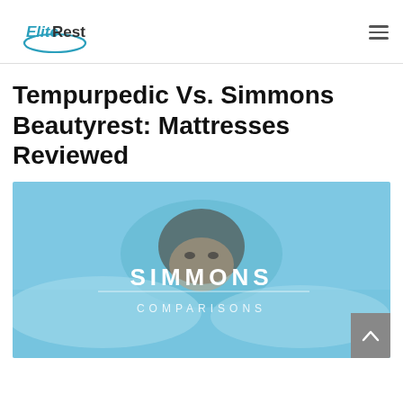EliteRest
Tempurpedic Vs. Simmons Beautyrest: Mattresses Reviewed
[Figure (photo): Hero image with a woman lying in bed with white pillows, overlaid with light blue tint. Text overlay reads 'SIMMONS' in large bold white letters with a horizontal rule and 'COMPARISONS' below in lighter spaced letters. A grey scroll-to-top button with an upward chevron is in the bottom-right corner.]